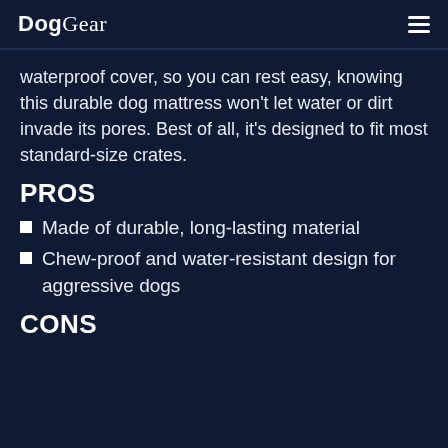DogGear
waterproof cover, so you can rest easy, knowing this durable dog mattress won't let water or dirt invade its pores. Best of all, it's designed to fit most standard-size crates.
PROS
Made of durable, long-lasting material
Chew-proof and water-resistant design for aggressive dogs
CONS